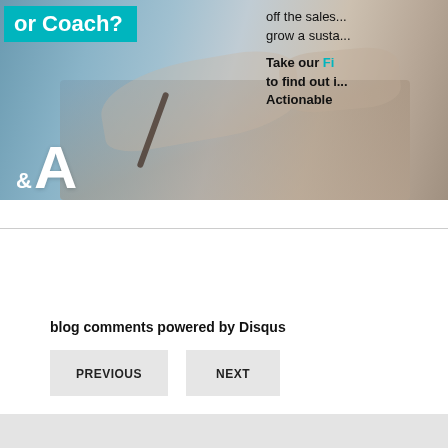[Figure (photo): Banner image showing people writing at desks with a teal overlay box reading 'or Coach?' and large white ampersand and letter A. Right side has text starting with 'off the sales' and 'grow a susta' and 'Take our Fi...' and 'to find out i...' and 'Actionable']
blog comments powered by Disqus
PREVIOUS
NEXT